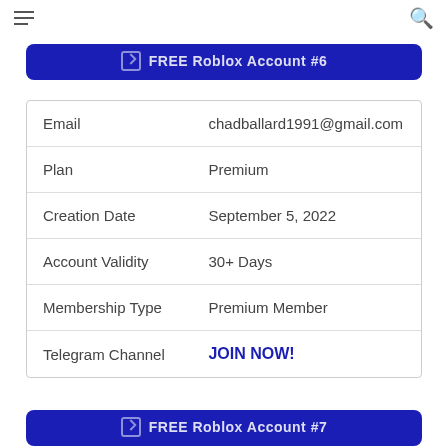≡  🔍
FREE Roblox Account #6
|  |  |
| --- | --- |
| Email | chadballard1991@gmail.com |
| Plan | Premium |
| Creation Date | September 5, 2022 |
| Account Validity | 30+ Days |
| Membership Type | Premium Member |
| Telegram Channel | JOIN NOW! |
FREE Roblox Account #7